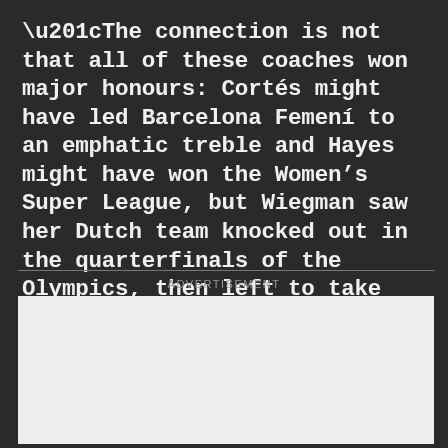“The connection is not that all of these coaches won major honours: Cortés might have led Barcelona Femení to an emphatic treble and Hayes might have won the Women’s Super League, but Wiegman saw her Dutch team knocked out in the quarterfinals of the Olympics, then left to take charge of England. The link, instead, is that they all work in Europe.”
ADVERTISEMENT